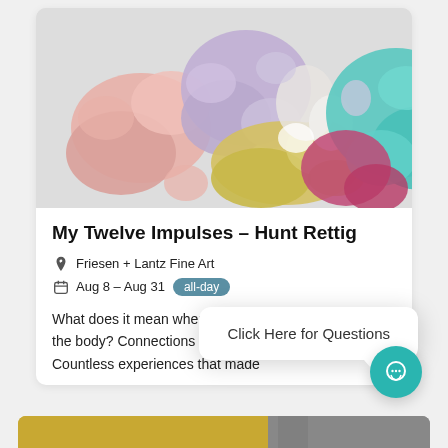[Figure (photo): Abstract 3D sculptural artwork featuring overlapping colorful organic blob/teardrop shapes in pastel pink, lavender/purple, yellow-gold, teal/turquoise, and red/magenta on a light gray background]
My Twelve Impulses – Hunt Rettig
Friesen + Lantz Fine Art
Aug 8 – Aug 31  all-day
What does it mean when the brain begins to die before the body? Connections that w... and never repaired. Countless experiences that made
Click Here for Questions
[Figure (photo): Bottom strip showing a partially visible artwork with gold/yellow and gray tones]